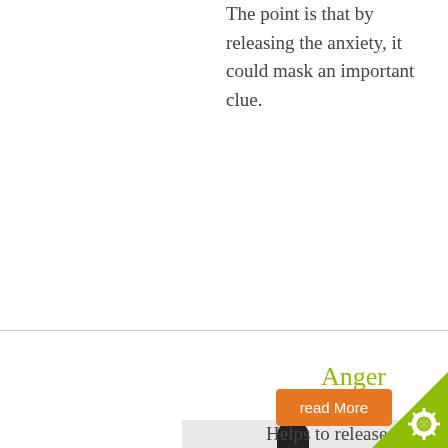The point is that by releasing the anxiety, it could mask an important clue.
Anger
[Figure (photo): A dropper/pipette tool shown against a light grey background]
Helps to release anger. ...ually ...Note ...dies ...nd/or ...can ...s ...er to ...e - ...this will help
NEM1
[Figure (screenshot): Cookie Control popup overlay showing cookie consent message with 'Cookies are on' toggle and 'about this tool' link]
read More
[Figure (other): Green triangle corner with gear/settings icon]